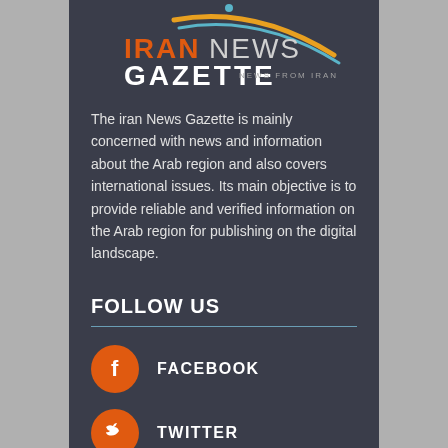[Figure (logo): Iran News Gazette logo with orange text and swoosh graphic]
The iran News Gazette is mainly concerned with news and information about the Arab region and also covers international issues. Its main objective is to provide reliable and verified information on the Arab region for publishing on the digital landscape.
FOLLOW US
FACEBOOK
TWITTER